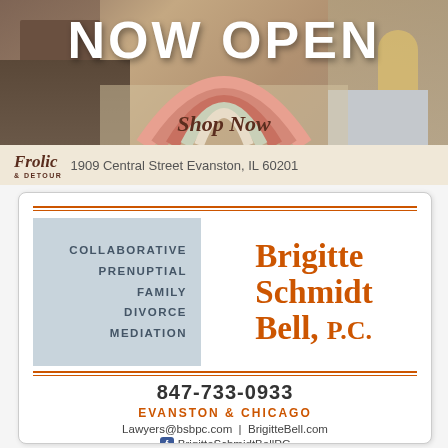[Figure (photo): Frolic & Detour furniture store ad showing interior with furniture, lamps, and a rainbow graphic. Text 'NOW OPEN' and 'Shop Now' overlaid. Address: 1909 Central Street Evanston, IL 60201]
COLLABORATIVE
PRENUPTIAL
FAMILY
DIVORCE
MEDIATION
Brigitte Schmidt Bell, P.C.
847-733-0933
EVANSTON & CHICAGO
Lawyers@bsbpc.com | BrigitteBell.com
BrigitteSchmidtBellPC